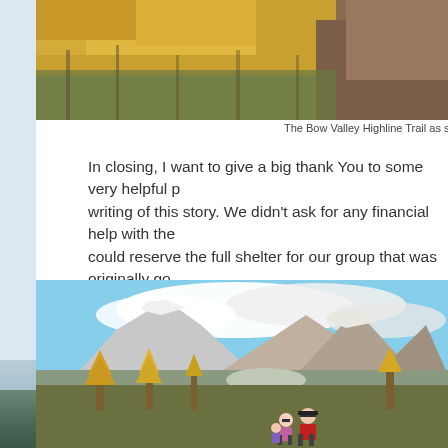[Figure (photo): Top portion of a mountain trail photo showing golden/yellow autumn trees and rocky cliff face - the Bow Valley Highline Trail]
The Bow Valley Highline Trail as seen fr
In closing, I want to give a big thank You to some very helpful p writing of this story. We didn't ask for any financial help with the could reserve the full shelter for our group that was originally go
[Figure (photo): Mountain landscape photo showing snow-capped peaks, rocky mountains, autumn larch trees, and two hikers in the foreground under partly cloudy blue sky]